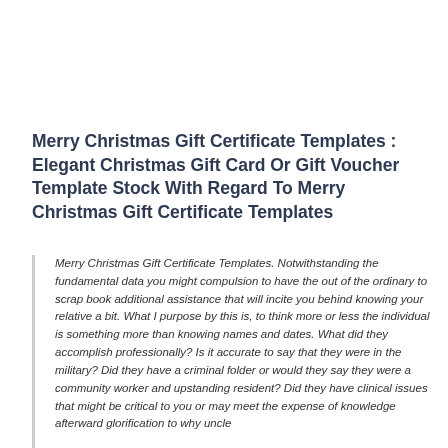Merry Christmas Gift Certificate Templates : Elegant Christmas Gift Card Or Gift Voucher Template Stock With Regard To Merry Christmas Gift Certificate Templates
Merry Christmas Gift Certificate Templates. Notwithstanding the fundamental data you might compulsion to have the out of the ordinary to scrap book additional assistance that will incite you behind knowing your relative a bit. What I purpose by this is, to think more or less the individual is something more than knowing names and dates. What did they accomplish professionally? Is it accurate to say that they were in the military? Did they have a criminal folder or would they say they were a community worker and upstanding resident? Did they have clinical issues that might be critical to you or may meet the expense of knowledge afterward glorification to why uncle